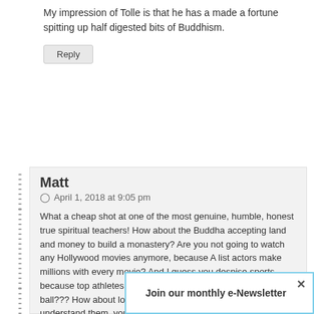My impression of Tolle is that he has a made a fortune spitting up half digested bits of Buddhism.
Reply
Matt
April 1, 2018 at 9:05 pm
What a cheap shot at one of the most genuine, humble, honest true spiritual teachers! How about the Buddha accepting land and money to build a monastery? Are you not going to watch any Hollywood movies anymore, because A list actors make millions with every movie? And I guess you despise sports, because top athletes rake in the millions – for just throwing a ball??? How about looking at his teachings? Should you understand them, you would realize that Eckhart’s teachings are a bargain. $250 a day for a workshop? Have you been in the real world lately and compared prices? Medical conferences are 300 and up a day to start with…
Get a life!
Reply
Join our monthly e-Newsletter